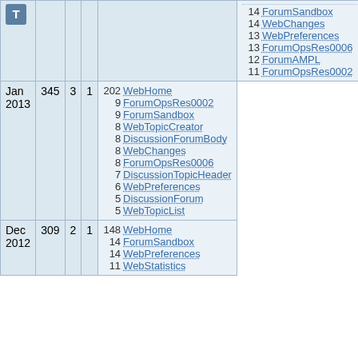|  | Views | Saves | Attachments | Top viewers |
| --- | --- | --- | --- | --- |
|  |  |  |  | 14 ForumSandbox
14 WebChanges
13 WebPreferences
13 ForumOpsRes0006
12 ForumAMPL
11 ForumOpsRes0002 |
| Jan 2013 | 345 | 3 | 1 | 202 WebHome
9 ForumOpsRes0002
9 ForumSandbox
8 WebTopicCreator
8 DiscussionForumBody
8 WebChanges
8 ForumOpsRes0006
7 DiscussionTopicHeader
6 WebPreferences
5 DiscussionForum
5 WebTopicList |
| Dec 2012 | 309 | 2 | 1 | 148 WebHome
14 ForumSandbox
14 WebPreferences
11 WebStatistics |